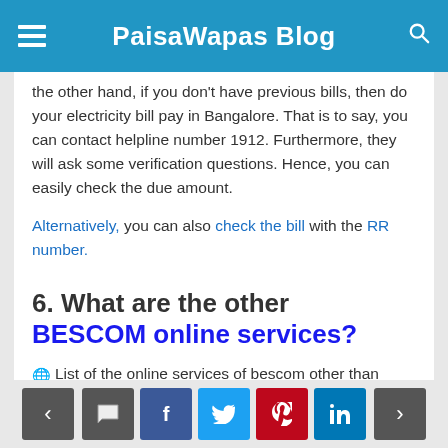PaisaWapas Blog
the other hand, if you don't have previous bills, then do your electricity bill pay in Bangalore. That is to say, you can contact helpline number 1912. Furthermore, they will ask some verification questions. Hence, you can easily check the due amount.
Alternatively, you can also check the bill with the RR number.
6. What are the other BESCOM online services?
List of the online services of bescom other than paying electricity bills online in Bangalore:
< [comment] [f] [twitter] [pinterest] [in] >